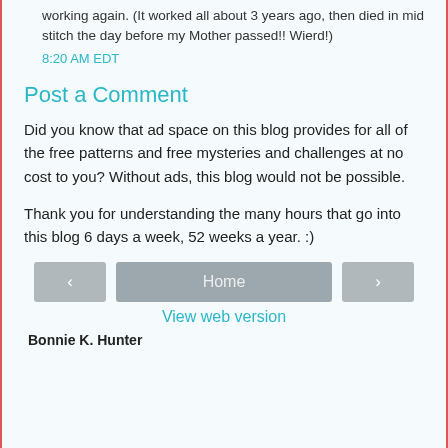working again. (It worked all about 3 years ago, then died in mid stitch the day before my Mother passed!! Wierd!)
8:20 AM EDT
Post a Comment
Did you know that ad space on this blog provides for all of the free patterns and free mysteries and challenges at no cost to you? Without ads, this blog would not be possible.
Thank you for understanding the many hours that go into this blog 6 days a week, 52 weeks a year. :)
Home
View web version
Bonnie K. Hunter